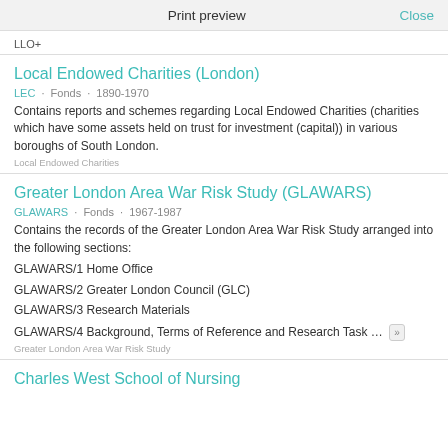Print preview  Close
LLO+
Local Endowed Charities (London)
LEC · Fonds · 1890-1970
Contains reports and schemes regarding Local Endowed Charities (charities which have some assets held on trust for investment (capital)) in various boroughs of South London.
Local Endowed Charities
Greater London Area War Risk Study (GLAWARS)
GLAWARS · Fonds · 1967-1987
Contains the records of the Greater London Area War Risk Study arranged into the following sections:
GLAWARS/1 Home Office
GLAWARS/2 Greater London Council (GLC)
GLAWARS/3 Research Materials
GLAWARS/4 Background, Terms of Reference and Research Task ...
Greater London Area War Risk Study
Charles West School of Nursing